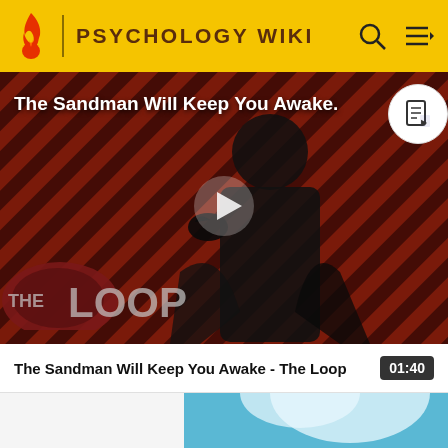PSYCHOLOGY WIKI
[Figure (screenshot): Video thumbnail for 'The Sandman Will Keep You Awake - The Loop' with a figure dressed in black against a red diagonal striped background, play button in center, THE LOOP watermark at bottom left]
The Sandman Will Keep You Awake - The Loop
01:40
[Figure (screenshot): Partial thumbnail of a second video with blue background showing text 'Search For Cloud']